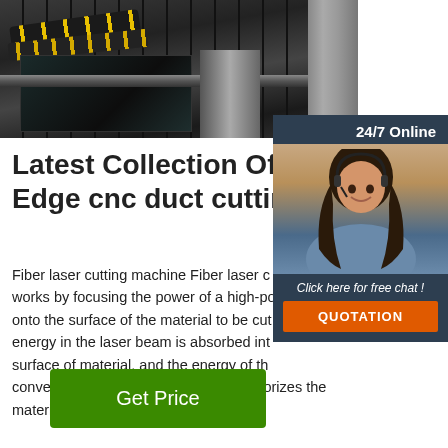[Figure (photo): CNC fiber laser cutting machine with cable chain and rails, industrial setting]
[Figure (photo): 24/7 online customer service representative (woman with headset) with chat widget overlay showing 'Click here for free chat!' and QUOTATION button]
Latest Collection Of Leading Edge cnc duct cutting
Fiber laser cutting machine Fiber laser cutting machine works by focusing the power of a high-power laser onto the surface of the material to be cut. The energy in the laser beam is absorbed into the surface of material, and the energy of the beam is converted into heat, which melts or vaporizes the material. 3.
Get Price